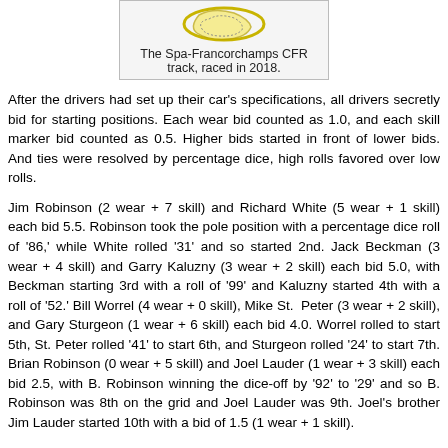[Figure (illustration): The Spa-Francorchamps CFR track map illustration, a small yellow and white schematic track diagram.]
The Spa-Francorchamps CFR track, raced in 2018.
After the drivers had set up their car's specifications, all drivers secretly bid for starting positions. Each wear bid counted as 1.0, and each skill marker bid counted as 0.5. Higher bids started in front of lower bids. And ties were resolved by percentage dice, high rolls favored over low rolls.
Jim Robinson (2 wear + 7 skill) and Richard White (5 wear + 1 skill) each bid 5.5. Robinson took the pole position with a percentage dice roll of '86,' while White rolled '31' and so started 2nd. Jack Beckman (3 wear + 4 skill) and Garry Kaluzny (3 wear + 2 skill) each bid 5.0, with Beckman starting 3rd with a roll of '99' and Kaluzny started 4th with a roll of '52.' Bill Worrel (4 wear + 0 skill), Mike St. Peter (3 wear + 2 skill), and Gary Sturgeon (1 wear + 6 skill) each bid 4.0. Worrel rolled to start 5th, St. Peter rolled '41' to start 6th, and Sturgeon rolled '24' to start 7th. Brian Robinson (0 wear + 5 skill) and Joel Lauder (1 wear + 3 skill) each bid 2.5, with B. Robinson winning the dice-off by '92' to '29' and so B. Robinson was 8th on the grid and Joel Lauder was 9th. Joel's brother Jim Lauder started 10th with a bid of 1.5 (1 wear + 1 skill).
Newcomer Mark Moellering started 11th with a bid of 1.0 (0 wear + 2 skill). Gary Landis and Chuck Modzinski each bid 0.5 (0 wear + 1 skill). Landis rolled '81' to start 12th, and Modzinski rolled '57' to start in 13th place. Modzinski had raced cars in the old Advanced Speed Circuit series in the late 1980s/early 1990s, but this was his first foray into racing with the Championship Formula Racing rules. Greg Lin started in 14th place after bidding nothing. And, after the field was set, but before the green flag dropped, Gary Kempen was added to the field in 15th place as a pre-